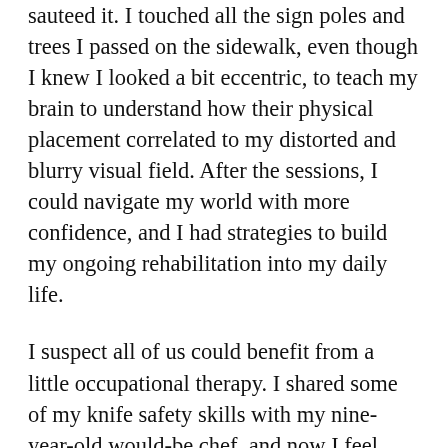sauteed it. I touched all the sign poles and trees I passed on the sidewalk, even though I knew I looked a bit eccentric, to teach my brain to understand how their physical placement correlated to my distorted and blurry visual field. After the sessions, I could navigate my world with more confidence, and I had strategies to build my ongoing rehabilitation into my daily life.
I suspect all of us could benefit from a little occupational therapy. I shared some of my knife safety skills with my nine-year-old would-be chef, and now I feel much better about his cooking projects. For anyone whose abilities are atypical, and for whom the world doesn't quite fit, occupational therapy is a life-enhancing treatment as important as the medical care it supplements. As the country debates who will get health care and how, it is important that we see occupational therapy not as an add-on to real health care, but as an integral